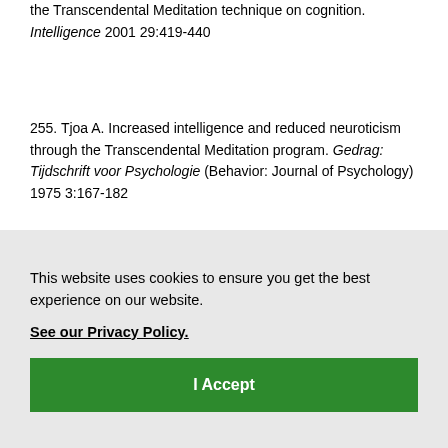the Transcendental Meditation technique on cognition. Intelligence 2001 29:419-440
255. Tjoa A. Increased intelligence and reduced neuroticism through the Transcendental Meditation program. Gedrag: Tijdschrift voor Psychologie (Behavior: Journal of Psychology) 1975 3:167-182
256. Fergusson LC et al. Vedic science based ...
This website uses cookies to ensure you get the best experience on our website. See our Privacy Policy.
I Accept